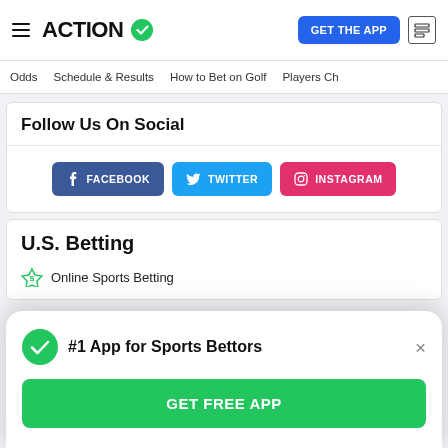ACTION
GET THE APP
Odds   Schedule & Results   How to Bet on Golf   Players Ch
Follow Us On Social
[Figure (infographic): Social media buttons: FACEBOOK, TWITTER, INSTAGRAM]
U.S. Betting
Online Sports Betting
#1 App for Sports Bettors
GET FREE APP